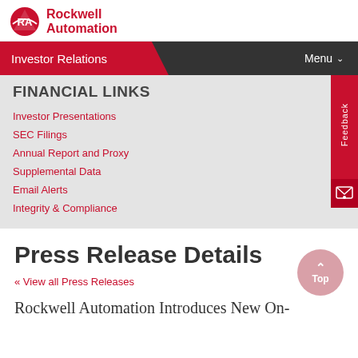Rockwell Automation
Investor Relations
FINANCIAL LINKS
Investor Presentations
SEC Filings
Annual Report and Proxy
Supplemental Data
Email Alerts
Integrity & Compliance
Press Release Details
« View all Press Releases
Rockwell Automation Introduces New On-